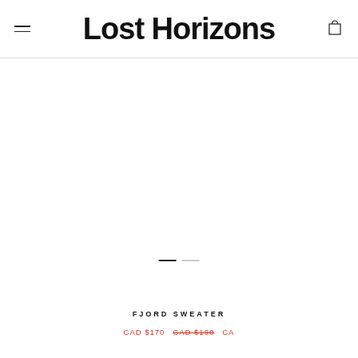Lost Horizons
ON SALE
ON SALE
[Figure (photo): Product image area for Fjord Sweater with slide indicator dots]
FJORD SWEATER
CAD $170  CAD $190